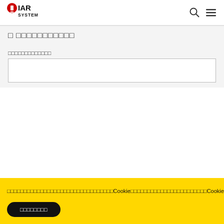IAR SYSTEMS
□ □□□□□□□□□□□
□□□□□□□□□□□□□
□□□□□□□□□□□□□□□□□□□□□□□□□□□□□□□□Cookie□□□□□□□□□□□□□□□□□□□□□□□Cookie□□□□□□□□□□□□□□□□□□□□□□□□□□□Cookie□□□□□□□□□□□□
□□□□□□□□